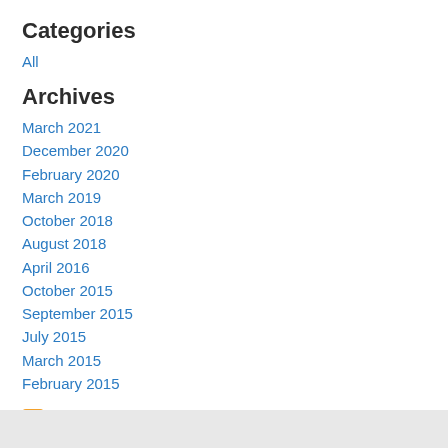Categories
All
Archives
March 2021
December 2020
February 2020
March 2019
October 2018
August 2018
April 2016
October 2015
September 2015
July 2015
March 2015
February 2015
RSS Feed